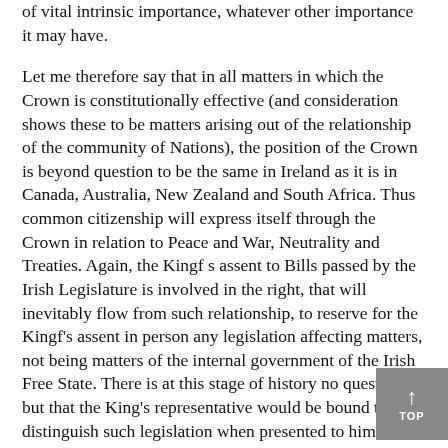of vital intrinsic importance, whatever other importance it may have.
Let me therefore say that in all matters in which the Crown is constitutionally effective (and consideration shows these to be matters arising out of the relationship of the community of Nations), the position of the Crown is beyond question to be the same in Ireland as it is in Canada, Australia, New Zealand and South Africa. Thus common citizenship will express itself through the Crown in relation to Peace and War, Neutrality and Treaties. Again, the Kingf s assent to Bills passed by the Irish Legislature is involved in the right, that will inevitably flow from such relationship, to reserve for the Kingf's assent in person any legislation affecting matters, not being matters of the internal government of the Irish Free State. There is at this stage of history no question but that the King's representative would be bound to distinguish such legislation when presented to him for the Royal assent,, and that he would be bound to signify the KIng's assent to Bills duly passed which are concerned with purely Irish internal